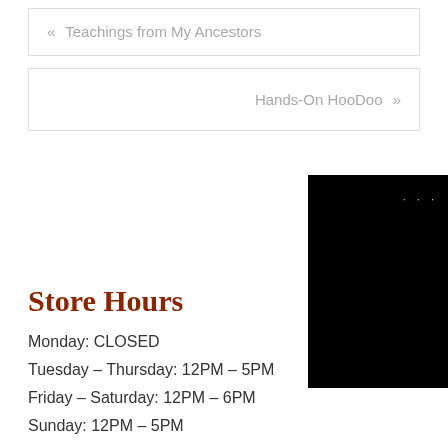« Teachings from My Ancestors
Hands-On HooDoo »
[Figure (photo): Dark/black image partially visible at right edge of page]
Store Hours
Monday: CLOSED
Tuesday – Thursday: 12PM – 5PM
Friday – Saturday: 12PM – 6PM
Sunday: 12PM – 5PM